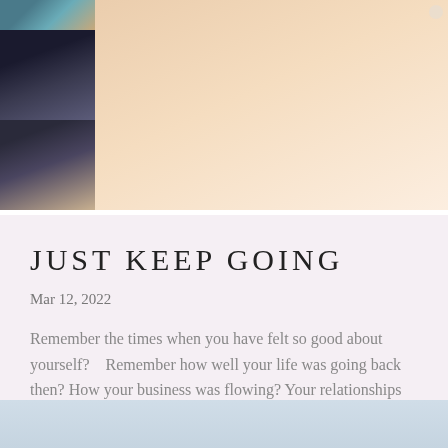[Figure (photo): Top banner image with peach/salmon gradient background and a strip of dark photos on the left side showing what appears to be people or objects]
JUST KEEP GOING
Mar 12, 2022
Remember the times when you have felt so good about yourself?    Remember how well your life was going back then? How your business was flowing? Your relationships flourishing? Remember the times where you seemed to have no problems? Where you were so in love with...
[Figure (photo): Bottom strip showing a light blue sky with clouds]